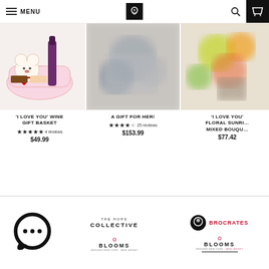MENU | Blooms | Search | Cart
[Figure (photo): Product photo: 'I Love You' Wine Gift Basket with teddy bear and bottle]
'I LOVE YOU' WINE GIFT BASKET ★★★★★ 4 reviews $49.99
[Figure (photo): Product photo: A Gift For Her - blurred gift arrangement]
A GIFT FOR HER! ★★★★☆ 25 reviews $153.99
[Figure (photo): Product photo: 'I Love You' Floral Sunrise Mixed Bouquet - blurred flowers]
'I LOVE YOU' FLORAL SUNRISE MIXED BOUQUET $77.42
[Figure (logo): Chat bubble icon with ellipsis]
[Figure (logo): The Hops Collective logo]
[Figure (logo): Brocrates logo with circular graphic]
[Figure (logo): Blooms logo (left)]
[Figure (logo): Blooms logo (right)]